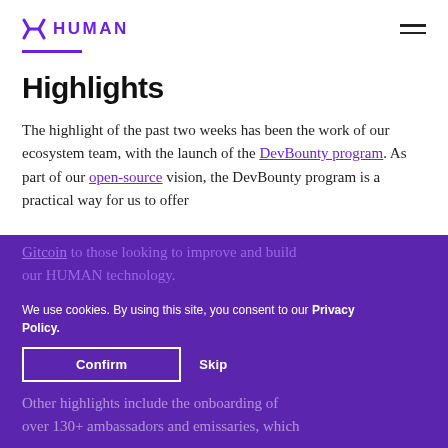HUMAN
Highlights
The highlight of the past two weeks has been the work of our ecosystem team, with the launch of the DevBounty program. As part of our open-source vision, the DevBounty program is a practical way for us to offer Gitcoin to those looking to improve and build our HUMAN technology.
We use cookies. By using this site, you consent to our Privacy Policy.
Other highlights include the onboarding of over 130+ ambassadors and emissaries, which